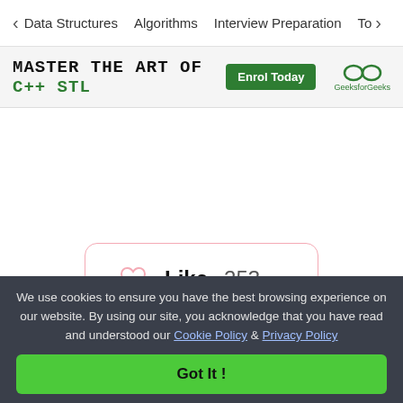Data Structures   Algorithms   Interview Preparation   To›
[Figure (screenshot): GeeksforGeeks banner advertisement: MASTER THE ART OF C++ STL with Enrol Today button and GeeksforGeeks logo]
♡ Like  253
‹ Previous    Next ›
We use cookies to ensure you have the best browsing experience on our website. By using our site, you acknowledge that you have read and understood our Cookie Policy & Privacy Policy
Got It !